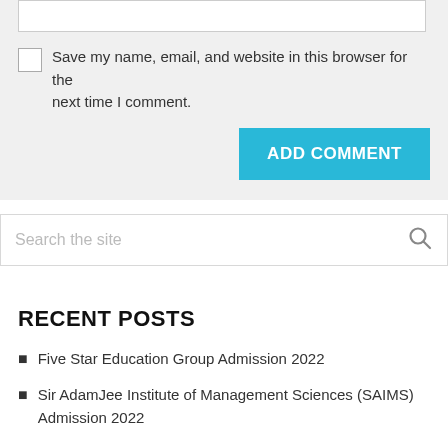Save my name, email, and website in this browser for the next time I comment.
ADD COMMENT
Search the site
RECENT POSTS
Five Star Education Group Admission 2022
Sir AdamJee Institute of Management Sciences (SAIMS) Admission 2022
Torica Evening Coaching Classes Admission 2022 Eligibility Criteria